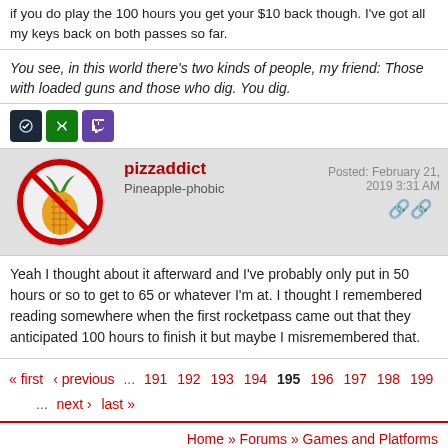if you do play the 100 hours you get your $10 back though. I've got all my keys back on both passes so far.
You see, in this world there's two kinds of people, my friend: Those with loaded guns and those who dig. You dig.
[Figure (logo): Steam, Xbox, and Twitch platform icons]
pizzaddict
Pineapple-phobic
Posted: February 21, 2019 3:31 AM
[Figure (illustration): Avatar: pineapple with red circle-slash (no pineapple) icon]
Yeah I thought about it afterward and I've probably only put in 50 hours or so to get to 65 or whatever I'm at. I thought I remembered reading somewhere when the first rocketpass came out that they anticipated 100 hours to finish it but maybe I misremembered that.
« first  ‹ previous  ...  191  192  193  194  195  196  197  198  199  ...  next ›  last »
Home » Forums » Games and Platforms